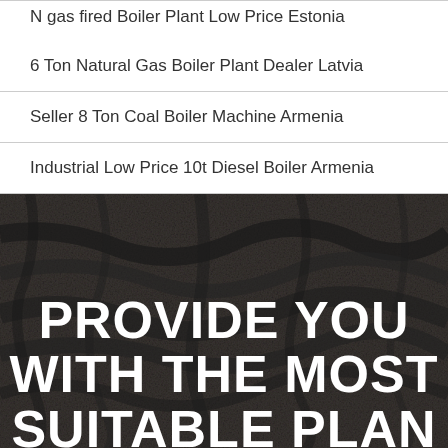N gas fired Boiler Plant Low Price Estonia
6 Ton Natural Gas Boiler Plant Dealer Latvia
Seller 8 Ton Coal Boiler Machine Armenia
Industrial Low Price 10t Diesel Boiler Armenia
[Figure (photo): Dark textured coal surface with bold white uppercase text overlay reading PROVIDE YOU WITH THE MOST SUITABLE PLAN]